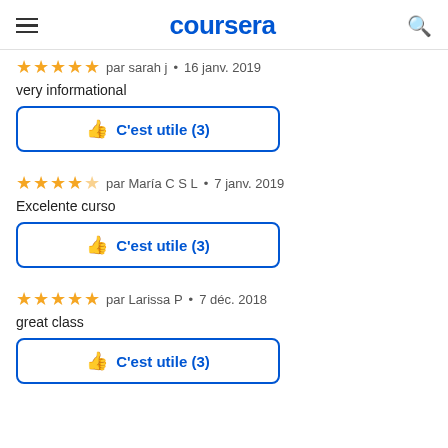coursera
★★★★★ par sarah j • 16 janv. 2019
very informational
C'est utile (3)
★★★★☆ par María C S L • 7 janv. 2019
Excelente curso
C'est utile (3)
★★★★★ par Larissa P • 7 déc. 2018
great class
C'est utile (3)